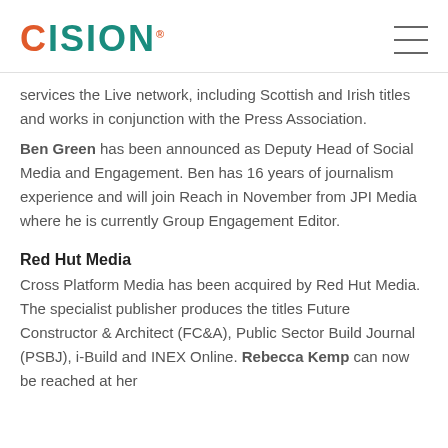CISION
services the Live network, including Scottish and Irish titles and works in conjunction with the Press Association.
Ben Green has been announced as Deputy Head of Social Media and Engagement. Ben has 16 years of journalism experience and will join Reach in November from JPI Media where he is currently Group Engagement Editor.
Red Hut Media
Cross Platform Media has been acquired by Red Hut Media. The specialist publisher produces the titles Future Constructor & Architect (FC&A), Public Sector Build Journal (PSBJ), i-Build and INEX Online. Rebecca Kemp can now be reached at her